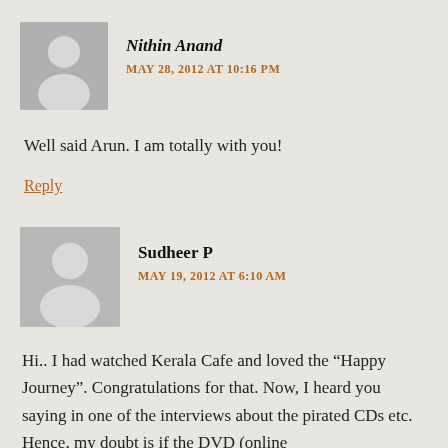Nithin Anand
MAY 28, 2012 AT 10:16 PM
Well said Arun. I am totally with you!
Reply
Sudheer P
MAY 19, 2012 AT 6:10 AM
Hi.. I had watched Kerala Cafe and loved the “Happy Journey”. Congratulations for that. Now, I heard you saying in one of the interviews about the pirated CDs etc. Hence, my doubt is if the DVD (online